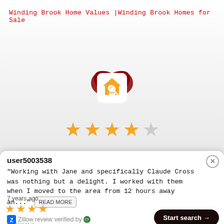Winding Brook Home Values |Winding Brook Homes for Sale
[Figure (logo): Orange house with magnifying glass icon on white rounded square background, with dark red heart shapes visible behind]
[Figure (other): 4 filled orange stars and 1 empty grey star rating]
user5003538
"Working with Jane and specifically Claude Cross was nothing but a delight. I worked with them when I moved to the area from 12 hours away an..." READ MORE
7 years ago
[Figure (other): 4 filled orange stars rating]
Zillow review verified by Endorsal.io
Start search →